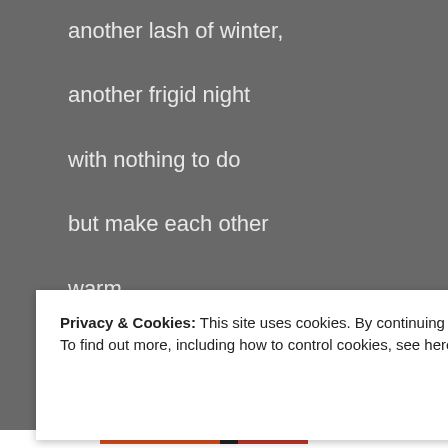another lash of winter,
another frigid night
with nothing to do
but make each other
warm.
Privacy & Cookies: This site uses cookies. By continuing to use this website, you agree to their use.
To find out more, including how to control cookies, see here: Cookie Policy
Close and accept